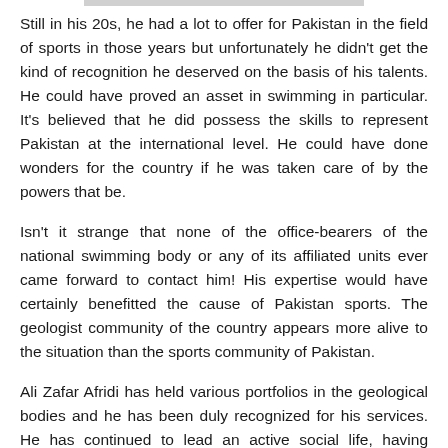Still in his 20s, he had a lot to offer for Pakistan in the field of sports in those years but unfortunately he didn't get the kind of recognition he deserved on the basis of his talents. He could have proved an asset in swimming in particular. It's believed that he did possess the skills to represent Pakistan at the international level. He could have done wonders for the country if he was taken care of by the powers that be.
Isn't it strange that none of the office-bearers of the national swimming body or any of its affiliated units ever came forward to contact him! His expertise would have certainly benefitted the cause of Pakistan sports. The geologist community of the country appears more alive to the situation than the sports community of Pakistan.
Ali Zafar Afridi has held various portfolios in the geological bodies and he has been duly recognized for his services. He has continued to lead an active social life, having decades long association with the Aligarh Muslim University Old Boys Association (AMUOBA).
He has continued to come to the Oi Said University...